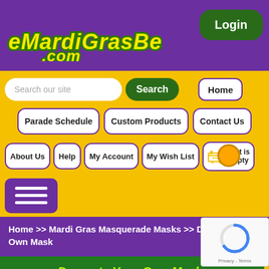[Figure (screenshot): eMardiGrasBeads.com website header screenshot showing logo, Login button, navigation menu with Search, Home, Parade Schedule, Custom Products, Contact Us, About Us, Help, My Account, My Wish List, Cart is empty buttons, hamburger menu, breadcrumb navigation, Decorate Your Own Mask section header, Product Categories bar, and social share buttons]
eMardiGrasBeads.com
Login
Search our site
Search
Home
Parade Schedule
Custom Products
Contact Us
About Us
Help
My Account
My Wish List
Cart is empty
Home >> Mardi Gras Masquerade Masks >> Decorate Your Own Mask
Decorate Your Own Mask
Product Categories